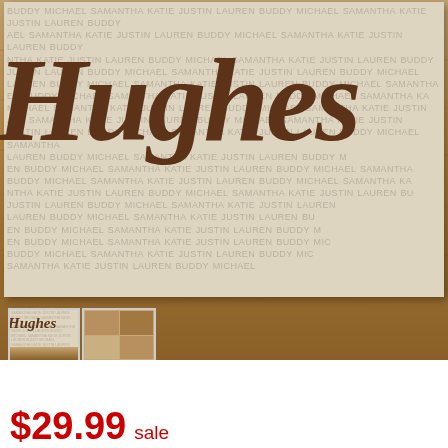[Figure (photo): Personalized family name canvas print showing 'Hughes' in large brown cursive script overlaid on a cream/beige background filled with repeating family member names (SAMANTHA, KATIE, JUSTIN, LAUREN, BUDDY, MICHAEL) in small uppercase text. The canvas rests on a rustic wood surface. Below are two thumbnail images of the same product.]
$29.99 sale